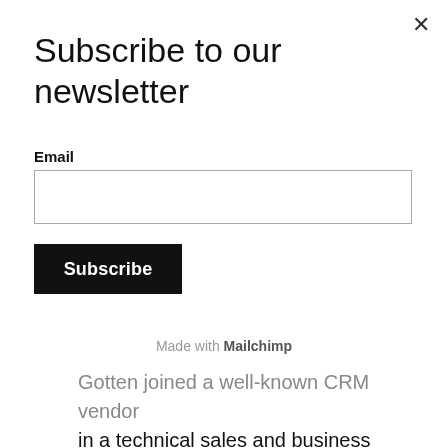Subscribe to our newsletter
Email
Subscribe
Made with Mailchimp
Gotten joined a well-known CRM vendor in a technical sales and business development position; demonstrating excellent sales results, account management and engineering expertise.